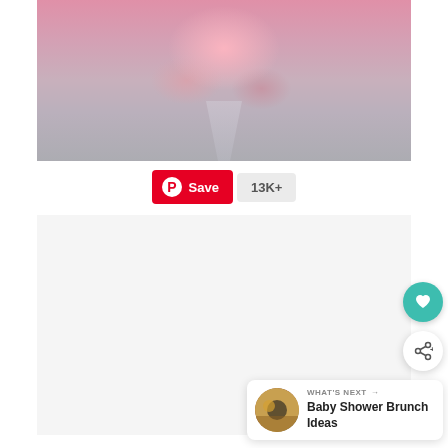[Figure (photo): Close-up photo of a pink dessert or ice cream in a glass parfait/sundae cup with colorful sprinkles, on a light background]
[Figure (infographic): Pinterest Save button (red with Pinterest P logo) and a save count badge showing '13K+']
[Figure (photo): Second image area (mostly white/blank), with a teal circular heart/favorite button, a white circular share button, and a 'WHAT'S NEXT' banner showing 'Baby Shower Brunch Ideas' with a thumbnail image]